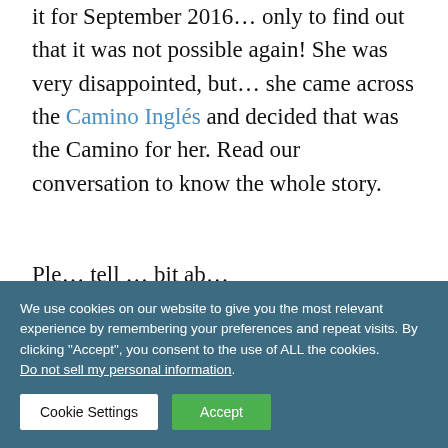it for September 2016… only to find out that it was not possible again! She was very disappointed, but… she came across the Camino Inglés and decided that was the Camino for her. Read our conversation to know the whole story.
Ple… tell … bit ab… t … rself…
We use cookies on our website to give you the most relevant experience by remembering your preferences and repeat visits. By clicking "Accept", you consent to the use of ALL the cookies. Do not sell my personal information.